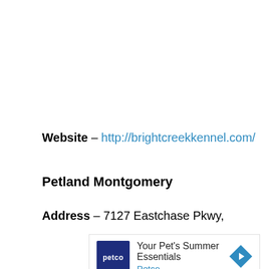Website – http://brightcreekkennel.com/
Petland Montgomery
Address – 7127 Eastchase Pkwy,
[Figure (other): Petco advertisement banner: 'Your Pet's Summer Essentials' with Petco logo and navigation arrow icon.]